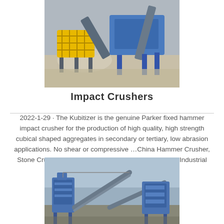[Figure (photo): Aerial view of a blue and yellow impact crusher machine at a quarry or aggregate processing site, with dust and gravel visible]
Impact Crushers
2022-1-29 · The Kubitizer is the genuine Parker fixed hammer impact crusher for the production of high quality, high strength cubical shaped aggregates in secondary or tertiary, low abrasion applications. No shear or compressive …China Hammer Crusher, Stone Crusher Machine …2021-6-25 · Henan Fangda Industrial Co., Ltd. is a high-.
[Figure (photo): Blue industrial crushing and screening equipment at a quarry plant, with conveyor belts and machinery visible]